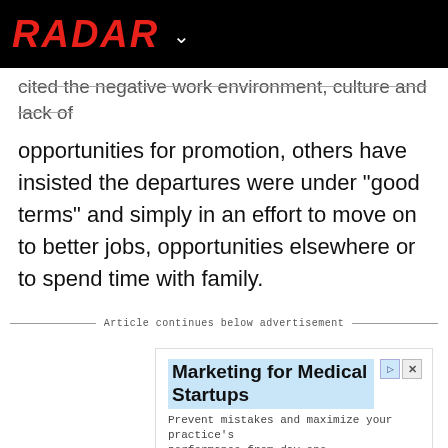RADAR
cited the negative work environment, culture and lack of opportunities for promotion, others have insisted the departures were under “good terms” and simply in an effort to move on to better jobs, opportunities elsewhere or to spend time with family.
Article continues below advertisement
[Figure (screenshot): Advertisement for Marketing for Medical Startups by eoshealthcaremarketing.com with Open button]